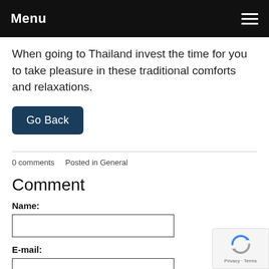Menu
When going to Thailand invest the time for you to take pleasure in these traditional comforts and relaxations.
Go Back
0 comments   Posted in General
Comment
Name:
E-mail: